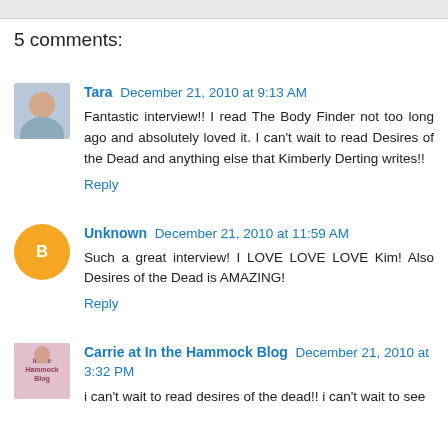5 comments:
Tara December 21, 2010 at 9:13 AM
Fantastic interview!! I read The Body Finder not too long ago and absolutely loved it. I can't wait to read Desires of the Dead and anything else that Kimberly Derting writes!!
Reply
Unknown December 21, 2010 at 11:59 AM
Such a great interview! I LOVE LOVE LOVE Kim! Also Desires of the Dead is AMAZING!
Reply
Carrie at In the Hammock Blog December 21, 2010 at 3:32 PM
i can't wait to read desires of the dead!! i can't wait to see